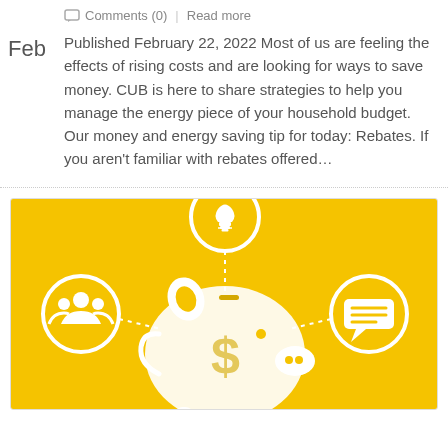Comments (0) | Read more
Feb
Published February 22, 2022 Most of us are feeling the effects of rising costs and are looking for ways to save money. CUB is here to share strategies to help you manage the energy piece of your household budget.   Our money and energy saving tip for today: Rebates. If you aren't familiar with rebates offered…
[Figure (illustration): Yellow background illustration showing a piggy bank with a dollar sign in the center, surrounded by dotted lines connecting to three circular icons: a group of people icon on the left, a lightbulb icon at the top, and a speech bubble with lines icon on the right.]